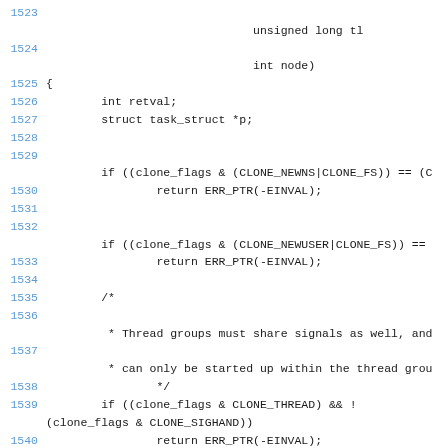Source code listing lines 1523-1540, showing a C function with clone_flags checks
1523: (continuation of function parameters)
1524:                     unsigned long tl
1525:                     int node)
1525: {
1526:         int retval;
1527:         struct task_struct *p;
1528: (blank)
1529:         if ((clone_flags & (CLONE_NEWNS|CLONE_FS)) == (C
1530:                 return ERR_PTR(-EINVAL);
1531: (blank)
1532:         if ((clone_flags & (CLONE_NEWUSER|CLONE_FS)) ==
1533:                 return ERR_PTR(-EINVAL);
1534: (blank)
1535:         /*
1536: (blank)
1537:          * Thread groups must share signals as well, and
1538:          * can only be started up within the thread grou
1538:          */
1539:         if ((clone_flags & CLONE_THREAD) && !
(clone_flags & CLONE_SIGHAND))
1540:                 return ERR_PTR(-EINVAL);